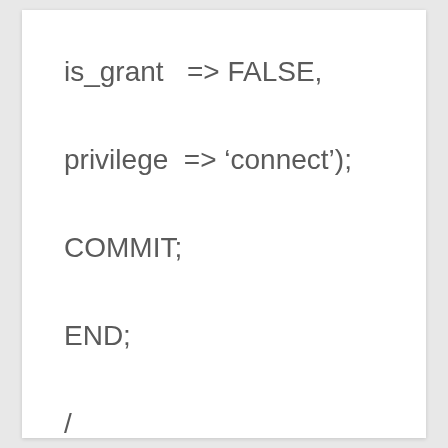is_grant  => FALSE,

privilege  => 'connect');

COMMIT;

END;

/